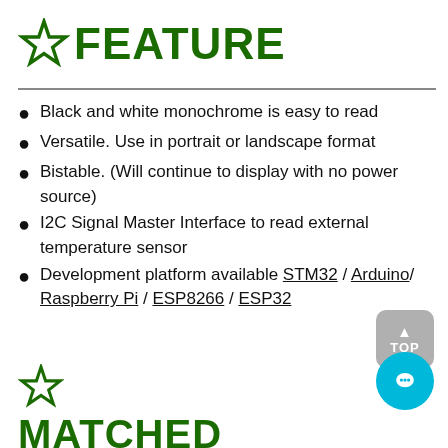☆ FEATURE
Black and white monochrome is easy to read
Versatile. Use in portrait or landscape format
Bistable. (Will continue to display with no power source)
I2C Signal Master Interface to read external temperature sensor
Development platform available STM32 / Arduino/ Raspberry Pi / ESP8266 / ESP32
☆ MATCHED DEVELOPMENT KIT